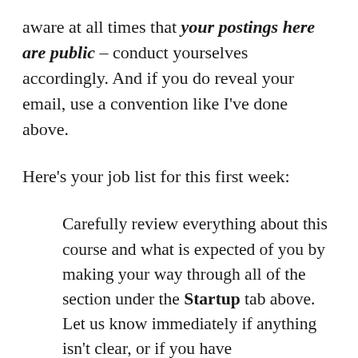aware at all times that your postings here are public – conduct yourselves accordingly. And if you do reveal your email, use a convention like I've done above.
Here's your job list for this first week:
Carefully review everything about this course and what is expected of you by making your way through all of the section under the Startup tab above. Let us know immediately if anything isn't clear, or if you have